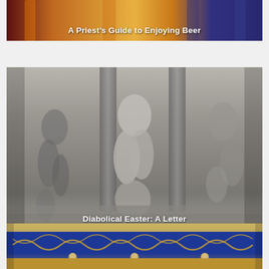[Figure (photo): Top card: blurred colorful beer bottles in background with overlay text 'A Priest's Guide to Enjoying Beer']
A Priest's Guide to Enjoying Beer
[Figure (photo): Middle card: close-up photo of medieval stone cathedral sculpture depicting demonic and human figures, with overlay text 'Diabolical Easter: A Letter']
Diabolical Easter: A Letter
[Figure (photo): Bottom card: close-up photo of an ornate golden and blue enamel reliquary with skull motifs and intricate floral patterns]